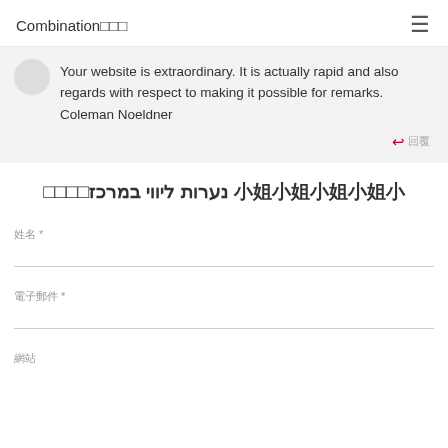Combination🔲🔲🔲
Your website is extraordinary. It is actually rapid and also regards with respect to making it possible for remarks. Coleman Noeldner
↩ 回覆
נערות ליווי במרכז🔲🔲🔲🔲  00000
姓名 *
電子郵件 *
網站